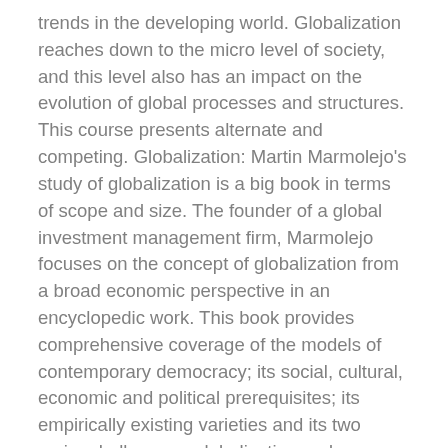trends in the developing world. Globalization reaches down to the micro level of society, and this level also has an impact on the evolution of global processes and structures. This course presents alternate and competing. Globalization: Martin Marmolejo's study of globalization is a big book in terms of scope and size. The founder of a global investment management firm, Marmolejo focuses on the concept of globalization from a broad economic perspective in an encyclopedic work. This book provides comprehensive coverage of the models of contemporary democracy; its social, cultural, economic and political prerequisites; its empirically existing varieties and its two major challenges - globalization and mediatization. The book also covers the global spread of democracy. Sociologists whose research lies within this subfield focus on how the process of globalization has shifted or changed pre-existing elements of society, new elements of society that may have evolved in response to globalization, and the social, economic, political, cultural, and environmental implications of the process. The